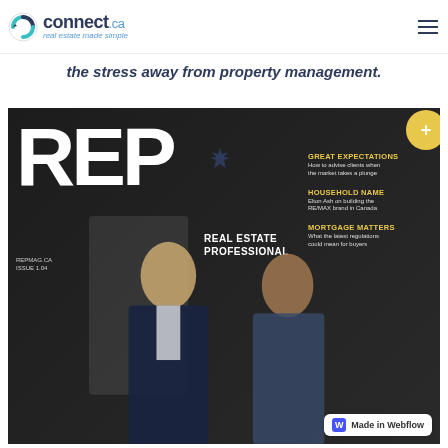[Figure (logo): connect.ca logo with circular arrow icon and tagline 'real estate made simple']
the stress away from property management.
[Figure (photo): Cover of REP (Real Estate Professional) magazine, issue 1.04, featuring two men on the cover. Headlines include: GREAT EXPECTATIONS - How to advise clients when the market takes a plunge; HOUSEHOLD NAME - Elton Ash on building the RE/MAX brand in Canada; MORTGAGE MATTERS - What the latest regulations could mean for buyers. Gold circle in top right corner. Made in Webflow badge at bottom right.]